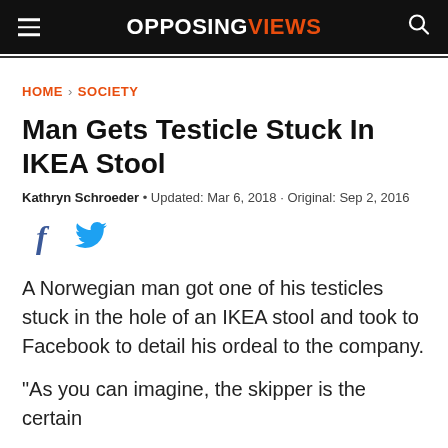OPPOSINGVIEWS
HOME › SOCIETY
Man Gets Testicle Stuck In IKEA Stool
Kathryn Schroeder • Updated: Mar 6, 2018 · Original: Sep 2, 2016
[Figure (other): Facebook and Twitter social share icons]
A Norwegian man got one of his testicles stuck in the hole of an IKEA stool and took to Facebook to detail his ordeal to the company.
"As you can imagine, the skipper is the certain